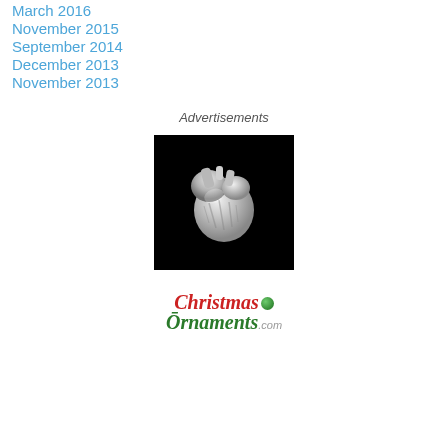March 2016
November 2015
September 2014
December 2013
November 2013
Advertisements
[Figure (photo): A silver metallic anatomical heart ornament on black background]
[Figure (logo): ChristmasOrnaments.com logo with red Christmas text, green Ornaments text, and a green ornament ball icon]